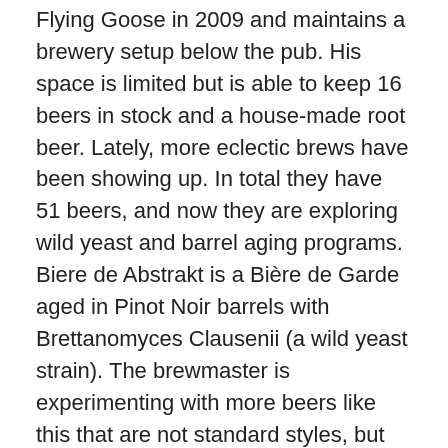Flying Goose in 2009 and maintains a brewery setup below the pub. His space is limited but is able to keep 16 beers in stock and a house-made root beer. Lately, more eclectic brews have been showing up. In total they have 51 beers, and now they are exploring wild yeast and barrel aging programs. Biere de Abstrakt is a Bière de Garde aged in Pinot Noir barrels with Brettanomyces Clausenii (a wild yeast strain). The brewmaster is experimenting with more beers like this that are not standard styles, but can wake up the taste buds and leave you wanting more.
If you're looking for the most interesting beers, try the Blueberry Wheat, Mickey's Vyce Black IPA and the winter barley wine called Isle of Pines.